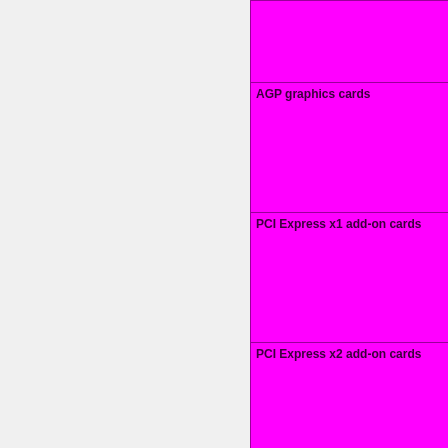| Category | Status |
| --- | --- |
|  | Untested=yellow | N/A=lightgray/yellow }}" | N/A |
| AGP graphics cards | OK=lime | TODO=red | No=red | WIP=orange | Untested=yellow | N/A=lightgray/yellow }}" | N/A |
| PCI Express x1 add-on cards | OK=lime | TODO=red | No=red | WIP=orange | Untested=yellow | N/A=lightgray/yellow }}" | N/A |
| PCI Express x2 add-on cards | OK=lime | TODO=red | No=red | WIP=orange | Untested=yellow | N/A=lightgray |